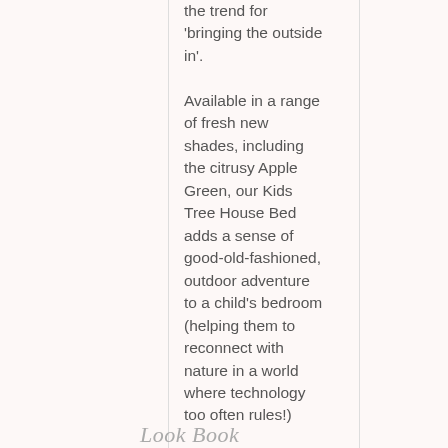the trend for 'bringing the outside in'.

Available in a range of fresh new shades, including the citrusy Apple Green, our Kids Tree House Bed adds a sense of good-old-fashioned, outdoor adventure to a child's bedroom (helping them to reconnect with nature in a world where technology too often rules!)
Look Book